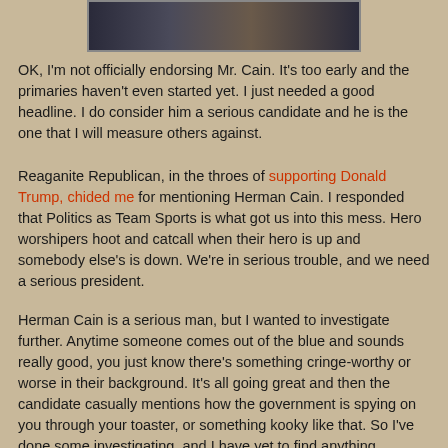[Figure (photo): Partial photo of people at top of page, cropped]
OK, I'm not officially endorsing Mr. Cain.  It's too early and the primaries haven't even started yet.  I just needed a good headline.  I do consider him a serious candidate and he is the one that I will measure others against.
Reaganite Republican, in the throes of supporting Donald Trump, chided me for mentioning Herman Cain.  I responded that Politics as Team Sports is what got us into this mess.  Hero worshipers hoot and catcall when their hero is up and somebody else's is down.  We're in serious trouble, and we need a serious president.
Herman Cain is a serious man, but I wanted to investigate further.  Anytime someone comes out of the blue and sounds really good, you just know there's something cringe-worthy or worse in their background.  It's all going great and then the candidate casually mentions how the government is spying on you through your toaster, or something kooky like that.  So I've done some investigating, and I have yet to find anything damning. I also watch the YouTube videos. It's